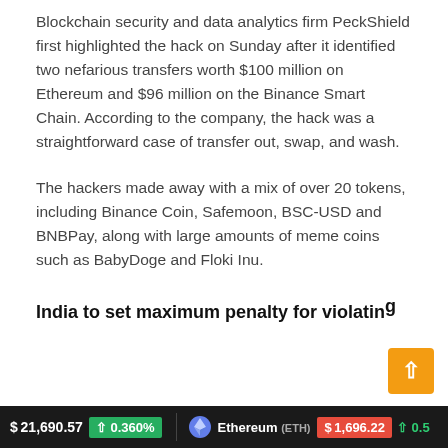Blockchain security and data analytics firm PeckShield first highlighted the hack on Sunday after it identified two nefarious transfers worth $100 million on Ethereum and $96 million on the Binance Smart Chain. According to the company, the hack was a straightforward case of transfer out, swap, and wash.
The hackers made away with a mix of over 20 tokens, including Binance Coin, Safemoon, BSC-USD and BNBPay, along with large amounts of meme coins such as BabyDoge and Floki Inu.
India to set maximum penalty for violating crypto norms at fine of $0.7 million or 1.5...
$21,690.57 ↑ 0.360%   Ethereum (ETH) $1,696.22 ↑ 0.5...